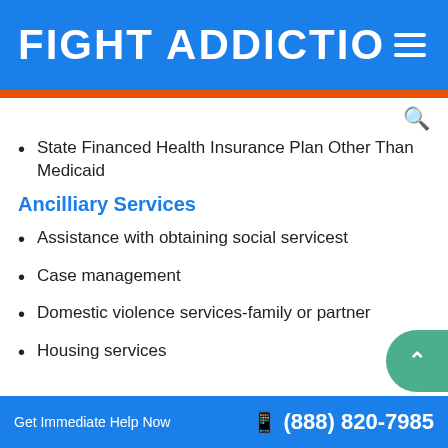FIGHT ADDICTIO
State Financed Health Insurance Plan Other Than Medicaid
Ancilliary Services
Assistance with obtaining social servicest
Case management
Domestic violence services-family or partner
Housing services
Get Immediate Help Now  (888) 820-7985